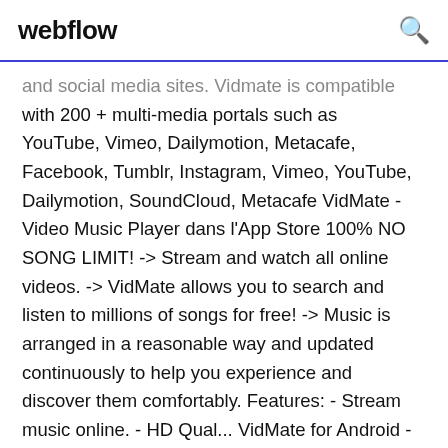webflow
and social media sites. Vidmate is compatible with 200 + multi-media portals such as YouTube, Vimeo, Dailymotion, Metacafe, Facebook, Tumblr, Instagram, Vimeo, YouTube, Dailymotion, SoundCloud, Metacafe VidMate - Video Music Player dans l'App Store 100% NO SONG LIMIT! -> Stream and watch all online videos. -> VidMate allows you to search and listen to millions of songs for free! -> Music is arranged in a reasonable way and updated continuously to help you experience and discover them comfortably. Features: - Stream music online. - HD Qual... VidMate for Android - Free download and software ...